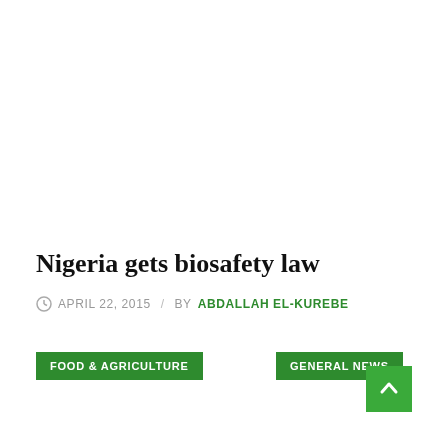Nigeria gets biosafety law
APRIL 22, 2015 / BY ABDALLAH EL-KUREBE
FOOD & AGRICULTURE
GENERAL NEWS